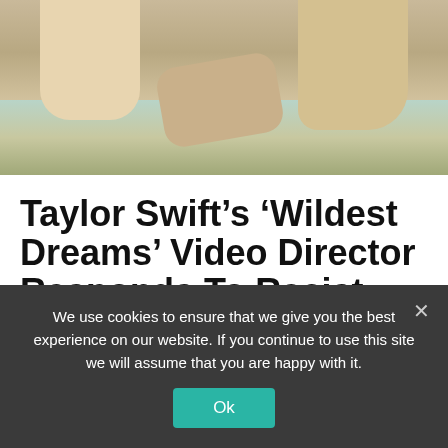[Figure (photo): Photo of two people holding hands outdoors in a savanna/field setting, cropped to show torsos and hands]
Taylor Swift’s ‘Wildest Dreams’ Video Director Responds To Racist Claims | Music News
by Shanade McConney · September 4, 2015
We use cookies to ensure that we give you the best experience on our website. If you continue to use this site we will assume that you are happy with it.